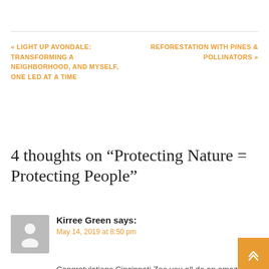« LIGHT UP AVONDALE: TRANSFORMING A NEIGHBORHOOD, AND MYSELF, ONE LED AT A TIME
REFORESTATION WITH PINES & POLLINATORS »
4 thoughts on “Protecting Nature = Protecting People”
Kirree Green says:
May 14, 2019 at 8:50 pm
Congratulations Cincinnati Zoo you all do an amazing job and thoroughly deserved to win Best American Zoo ! We have wonderful Zoos in Australia Sydney, of course, springs